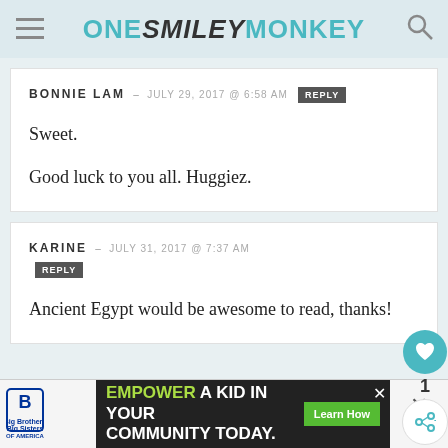ONE SMILEY MONKEY
BONNIE LAM – JULY 29, 2017 @ 6:58 AM [REPLY]

Sweet.

Good luck to you all. Huggiez.
KARINE – JULY 31, 2017 @ 7:37 AM [REPLY]

Ancient Egypt would be awesome to read, thanks!
[Figure (other): Advertisement banner: Big Brothers Big Sisters logo, 'EMPOWER A KID IN YOUR COMMUNITY TODAY.' with Learn How button]